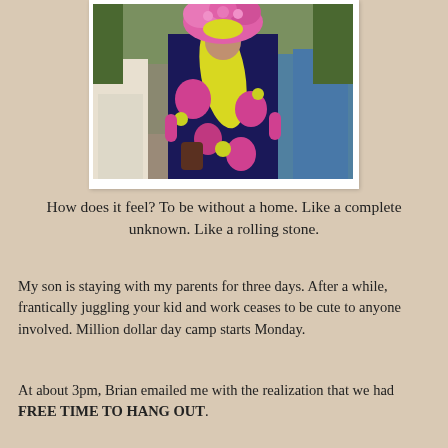[Figure (photo): A person in a colorful floral outfit with pink, yellow-green, and white flowers on a dark navy background, wearing a large pink floral hat with yellow headscarf, standing in a crowd outdoors on a cobblestone area with trees in background.]
How does it feel? To be without a home. Like a complete unknown. Like a rolling stone.
My son is staying with my parents for three days. After a while, frantically juggling your kid and work ceases to be cute to anyone involved. Million dollar day camp starts Monday.
At about 3pm, Brian emailed me with the realization that we had FREE TIME TO HANG OUT.